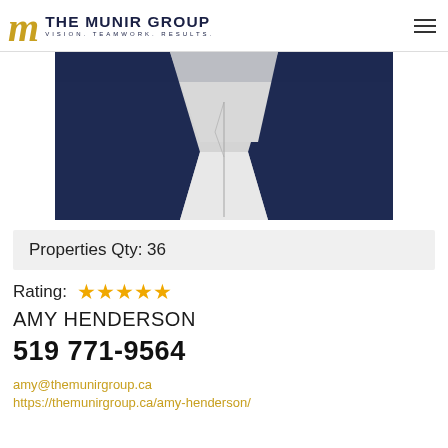THE MUNIR GROUP — VISION. TEAMWORK. RESULTS.
[Figure (photo): Partial photo of Amy Henderson wearing a navy blazer and white blouse with a long necklace, cropped at mid-torso level.]
Properties Qty: 36
Rating: ★★★★★
AMY HENDERSON
519 771-9564
amy@themunirgroup.ca
https://themunirgroup.ca/amy-henderson/